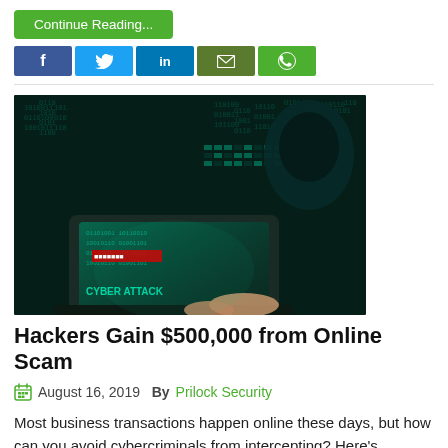Continue Reading...
[Figure (screenshot): Social sharing buttons: Facebook, Twitter, LinkedIn, Email, WhatsApp]
[Figure (photo): A hooded hacker typing on a laptop displaying 'CYBER ATTACK' in a dark, digitally-themed room with glowing teal matrix-style code in the background.]
Hackers Gain $500,000 from Online Scam
August 16, 2019  By  Prilock Security
Most business transactions happen online these days, but how can you avoid cybercriminals from intercepting? Here's